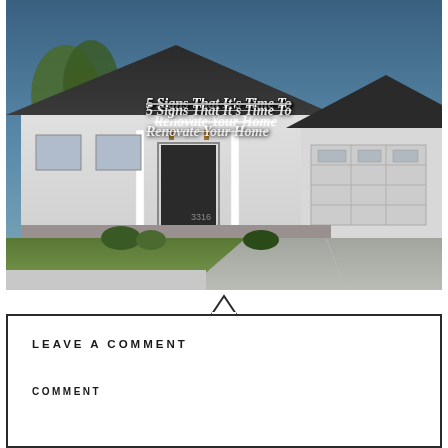[Figure (photo): Exterior photo of a white suburban ranch-style home with dark roof, two-car garage, front porch with pillars, green lawn, and concrete driveway. The photo has an overlaid italic white text title.]
5 Signs That It's Time To Renovate Your Home
LEAVE A COMMENT
COMMENT